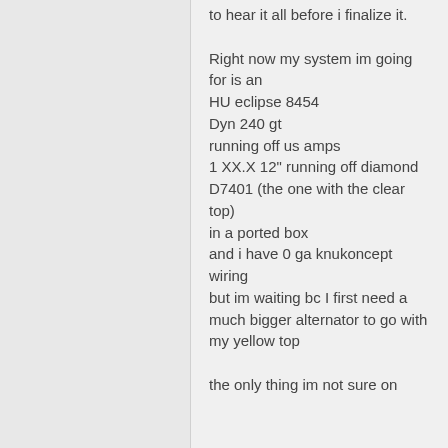to hear it all before i finalize it.

Right now my system im going for is an
HU eclipse 8454
Dyn 240 gt
running off us amps
1 XX.X 12" running off diamond D7401 (the one with the clear top)
in a ported box
and i have 0 ga knukoncept wiring
but im waiting bc I first need a much bigger alternator to go with my yellow top

the only thing im not sure on